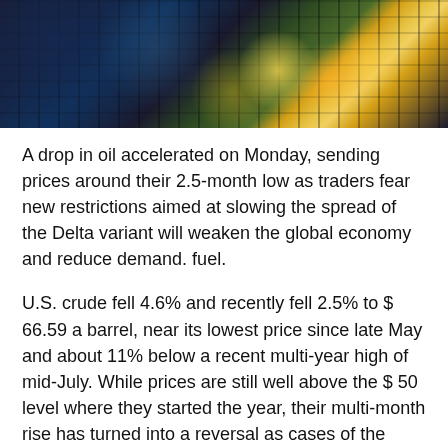[Figure (photo): Aerial nighttime view of an industrial facility, likely an oil refinery or chemical plant, with bright lights illuminating the structures and equipment.]
A drop in oil accelerated on Monday, sending prices around their 2.5-month low as traders fear new restrictions aimed at slowing the spread of the Delta variant will weaken the global economy and reduce demand. fuel.
U.S. crude fell 4.6% and recently fell 2.5% to $ 66.59 a barrel, near its lowest price since late May and about 11% below a recent multi-year high of mid-July. While prices are still well above the $ 50 level where they started the year, their multi-month rise has turned into a reversal as cases of the Delta variant soar and governments respond. .
Investors are particularly concerned about falling demand in China, where Beijing health officials said last week the city would cancel all large-scale exhibitions and events for the remainder of August. Similar moves in the world's largest commodity consumer risk blocking a recent rebound in travel, worrying traders as China's economic recovery had already shown signs of slowing in